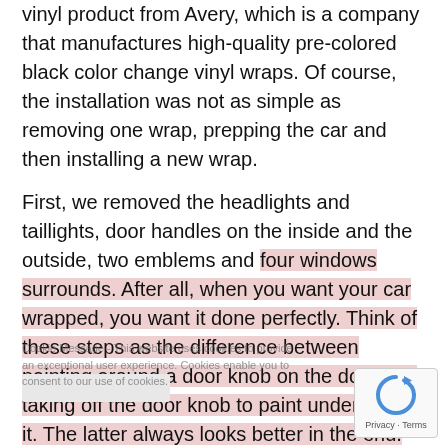vinyl product from Avery, which is a company that manufactures high-quality pre-colored black color change vinyl wraps. Of course, the installation was not as simple as removing one wrap, prepping the car and then installing a new wrap.
First, we removed the headlights and taillights, door handles on the inside and the outside, two emblems and four windows surrounds. After all, when you want your car wrapped, you want it done perfectly. Think of these steps as the difference between painting around a door knob on the door and taking off the door knob to paint underneath it. The latter always looks better in the end. Next, we took into account the vehicle's make and model when designing the seams and cutting the material for a perfect fit. Once the satin black wrap was installed handles, emblems and lights were reinstalled. The is a breathtakingly gorgeous vehicle.